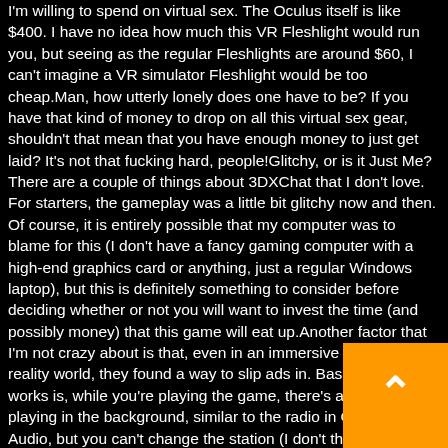I'm willing to spend on virtual sex. The Oculus itself is like $400. I have no idea how much this VR Fleshlight would run you, but seeing as the regular Fleshlights are around $60, I can't imagine a VR simulator Fleshlight would be too cheap.Man, how utterly lonely does one have to be? If you have that kind of money to drop on all this virtual sex gear, shouldn't that mean that you have enough money to just get laid? It's not that fucking hard, people!Glitchy, or is it Just Me?There are a couple of things about 3DXChat that I don't love. For starters, the gameplay was a little bit glitchy now and then. Of course, it is entirely possible that my computer was to blame for this (I don't have a fancy gaming computer with a high-end graphics card or anything, just a regular Windows laptop), but this is definitely something to consider before deciding whether or not you will want to invest the time (and possibly money) that this game will eat up.Another factor that I'm not crazy about is that, even in an immersive 3D virtual reality world, they found a way to slip ads in. Basically, how it works is, while you're playing the game, there's a radio always playing in the background, similar to the radio in Grand Theft Audio, but you can't change the station (I don't think).However, if you host an event in your world, you can control the music. Every once in a while, though, every few songs or though, a commercial for an insurance company will play. As you know, I can't stand ads. But, all things considered, as far as ads go, these aren't the worst. Plus, you can turn off the radio, so that's cool too.All in all, I found myself enjoying 3DxChat a lot more than I thought I would. I highly
[Figure (other): Orange square button with upward-pointing chevron arrow (scroll-to-top button), positioned in the bottom-right corner of the page.]